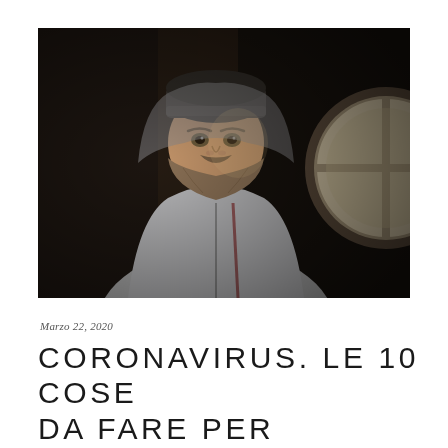[Figure (photo): A bearded man wearing a hoodie and beanie hat looking out of a circular window, dark moody interior background]
Marzo 22, 2020
CORONAVIRUS. LE 10 COSE DA FARE PER SUPERARE